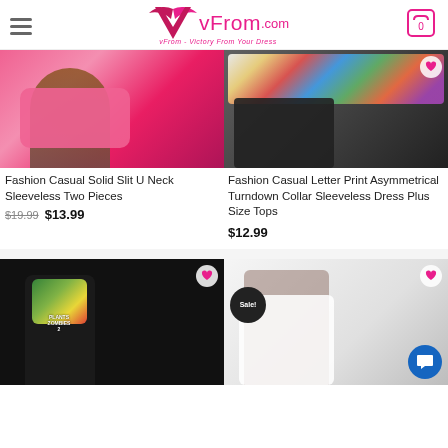vFrom.com — vFrom - Victory From Your Dress
[Figure (photo): Fashion Casual Solid Slit U Neck Sleeveless Two Pieces product photo - pink outfit]
Fashion Casual Solid Slit U Neck Sleeveless Two Pieces
$19.99  $13.99
[Figure (photo): Fashion Casual Letter Print Asymmetrical Turndown Collar Sleeveless Dress Plus Size Tops product photo - black leather shorts with colorful letter print top]
Fashion Casual Letter Print Asymmetrical Turndown Collar Sleeveless Dress Plus Size Tops
$12.99
[Figure (photo): Plants vs Zombies 2 graphic crop top product photo - black top with Plants vs Zombies 2 graphic]
[Figure (photo): White two piece set product photo - white short sleeve top and skirt with Sale! badge]